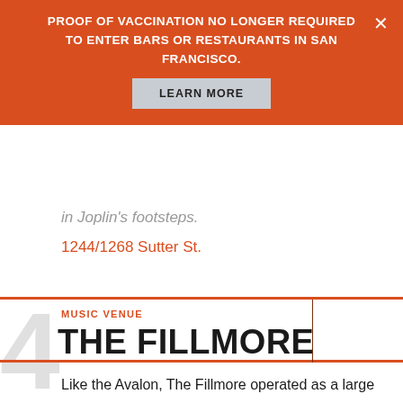PROOF OF VACCINATION NO LONGER REQUIRED TO ENTER BARS OR RESTAURANTS IN SAN FRANCISCO.
LEARN MORE
in Joplin's footsteps.
1244/1268 Sutter St.
MUSIC VENUE
THE FILLMORE
Like the Avalon, The Fillmore operated as a large